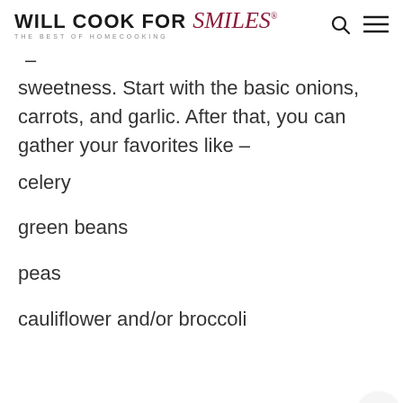WILL COOK FOR Smiles® THE BEST OF HOMECOOKING
– sweetness. Start with the basic onions, carrots, and garlic. After that, you can gather your favorites like –
celery
green beans
peas
cauliflower and/or broccoli